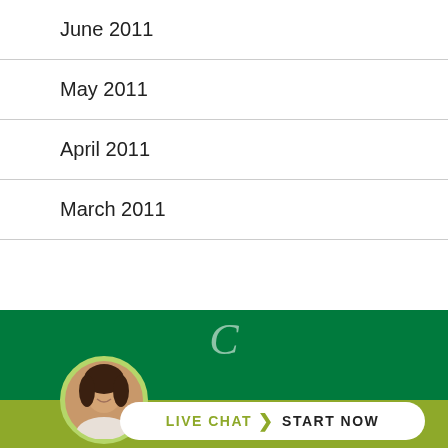June 2011
May 2011
April 2011
March 2011
[Figure (infographic): Dark green footer banner with yellow-green olive strip at bottom, circular avatar photo of a woman, decorative script letter C in white, and a pill-shaped white LIVE CHAT > START NOW button]